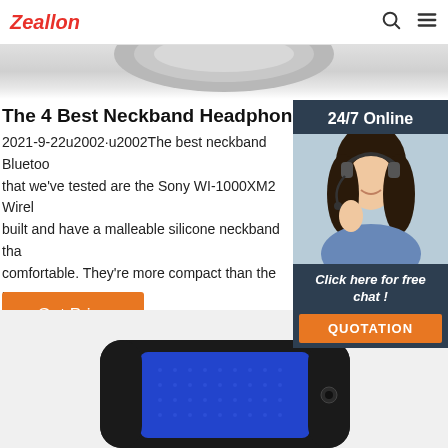Zeallon
[Figure (photo): Partial view of neckband headphones in gray/silver]
The 4 Best Neckband Headphones - Fall 2021 Review
2021-9-22u2002·u2002The best neckband Bluetooth headphones that we've tested are the Sony WI-1000XM2 Wireless. They're well-built and have a malleable silicone neckband that makes them very comfortable. They're more compact than the previous model, the Sony WI-1000X Wireless, and their in-line controls are very easy to use.
[Figure (photo): 24/7 Online customer service widget with woman wearing headset]
Get Price
[Figure (photo): Black and blue speaker/headphone product photo at bottom of page]